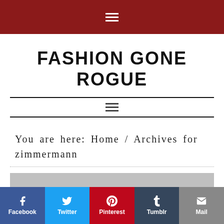FASHION GONE ROGUE (navigation bar with hamburger icon)
FASHION GONE ROGUE
You are here: Home / Archives for zimmermann
[Figure (screenshot): Partial photo strip visible at bottom of content area]
Social share bar: Facebook, Twitter, Pinterest, Tumblr, Mail